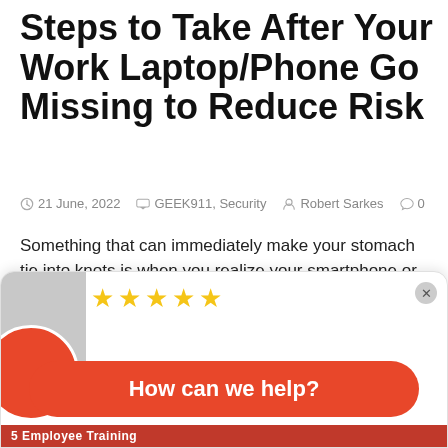Steps to Take After Your Work Laptop/Phone Go Missing to Reduce Risk
21 June, 2022   GEEK911, Security   Robert Sarkes   0
Something that can immediately make your stomach tie into knots is when you realize your smartphone or laptop has gone missing. Unfortunately, the same thing that makes mobile devices so popular, the fact that you can take them anywhere, also makes them more likely to be lost or stolen. About 70 million smartphones are lost...
Read More ›
[Figure (screenshot): Chat widget popup with 4 gold stars, a red circle avatar, a red pill button reading 'How can we help?', and a bottom strip reading '5 Employee Training']